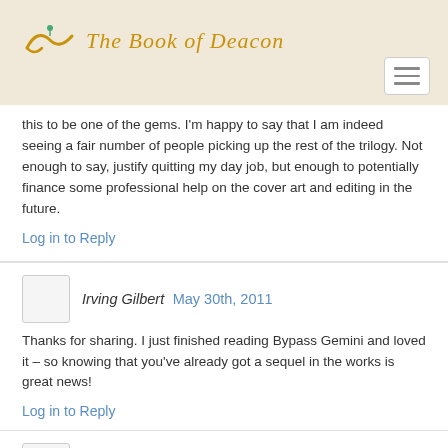The Book of Deacon
this to be one of the gems. I'm happy to say that I am indeed seeing a fair number of people picking up the rest of the trilogy. Not enough to say, justify quitting my day job, but enough to potentially finance some professional help on the cover art and editing in the future.
Log in to Reply
Irving Gilbert May 30th, 2011
Thanks for sharing. I just finished reading Bypass Gemini and loved it – so knowing that you've already got a sequel in the works is great news!
Log in to Reply
Valerie June 2nd, 2011
I am halfway through the The Battle of Verril, and I know I'm